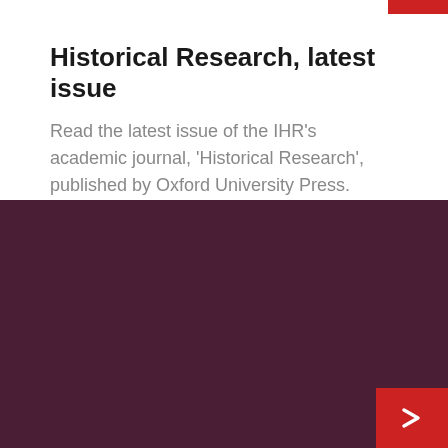Historical Research, latest issue
Read the latest issue of the IHR's academic journal, 'Historical Research', published by Oxford University Press.
[Figure (other): Dark maroon/purple background section filling the lower half of the page, with a red arrow button in the bottom-right corner.]